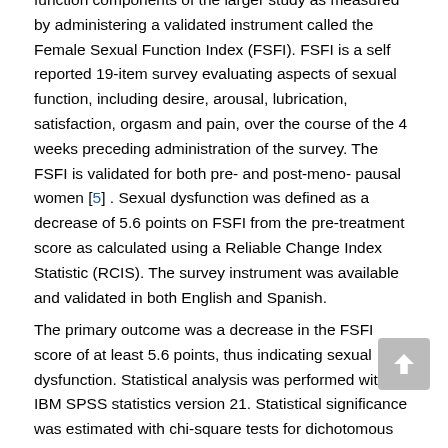function components of the larger study as measured by administering a validated instrument called the Female Sexual Function Index (FSFI). FSFI is a self reported 19-item survey evaluating aspects of sexual function, including desire, arousal, lubrication, satisfaction, orgasm and pain, over the course of the 4 weeks preceding administration of the survey. The FSFI is validated for both pre- and post-meno- pausal women [5] . Sexual dysfunction was defined as a decrease of 5.6 points on FSFI from the pre-treatment score as calculated using a Reliable Change Index Statistic (RCIS). The survey instrument was available and validated in both English and Spanish.
The primary outcome was a decrease in the FSFI score of at least 5.6 points, thus indicating sexual dysfunction. Statistical analysis was performed with IBM SPSS statistics version 21. Statistical significance was estimated with chi-square tests for dichotomous and categorical variables and Student's t-tests were used to